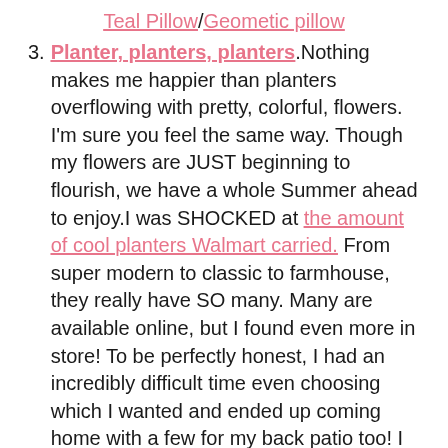Teal Pillow/Geometic pillow
Planter, planters, planters.Nothing makes me happier than planters overflowing with pretty, colorful, flowers. I'm sure you feel the same way. Though my flowers are JUST beginning to flourish, we have a whole Summer ahead to enjoy.I was SHOCKED at the amount of cool planters Walmart carried. From super modern to classic to farmhouse, they really have SO many. Many are available online, but I found even more in store! To be perfectly honest, I had an incredibly difficult time even choosing which I wanted and ended up coming home with a few for my back patio too! I like to get a few different sizes and heights of planters so all